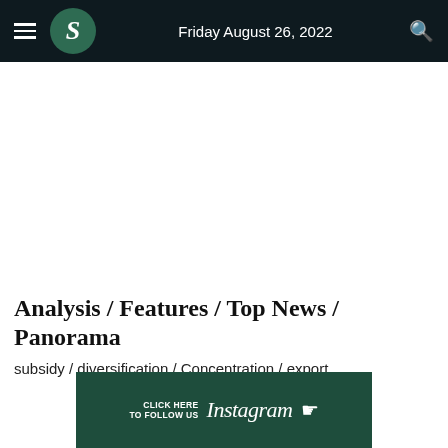Friday August 26, 2022
Analysis / Features / Top News / Panorama
subsidy / diversification / Concentration / export
[Figure (illustration): Instagram follow banner with dark green background, 'CLICK HERE TO FOLLOW US' text on left, stylized Instagram wordmark in center, and pointing hand cursor icon on right.]